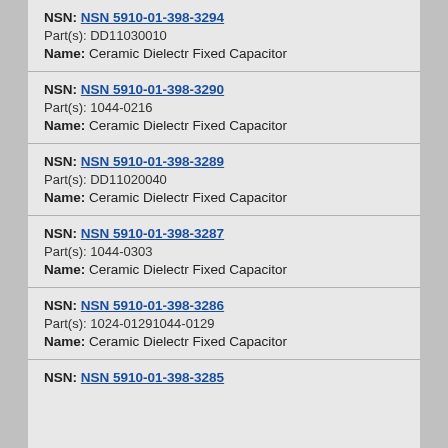NSN: NSN 5910-01-398-3294
Part(s): DD11030010
Name: Ceramic Dielectr Fixed Capacitor
NSN: NSN 5910-01-398-3290
Part(s): 1044-0216
Name: Ceramic Dielectr Fixed Capacitor
NSN: NSN 5910-01-398-3289
Part(s): DD11020040
Name: Ceramic Dielectr Fixed Capacitor
NSN: NSN 5910-01-398-3287
Part(s): 1044-0303
Name: Ceramic Dielectr Fixed Capacitor
NSN: NSN 5910-01-398-3286
Part(s): 1024-01291044-0129
Name: Ceramic Dielectr Fixed Capacitor
NSN: NSN 5910-01-398-3285